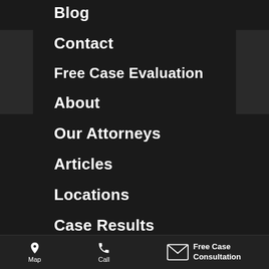Blog
Contact
Free Case Evaluation
About
Our Attorneys
Articles
Locations
Case Results
Testimonials
Contingency Fee
Privacy Policy
Map   Call   Free Case Consultation